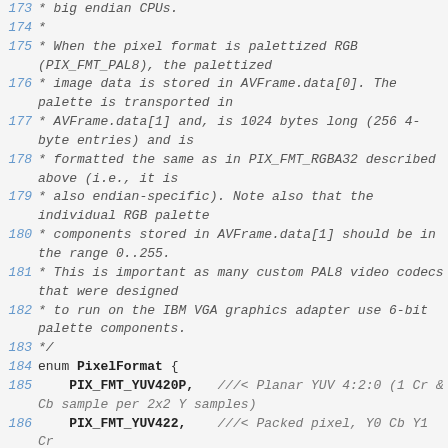173  * big endian CPUs.
174  *
175  * When the pixel format is palettized RGB (PIX_FMT_PAL8), the palettized
176  * image data is stored in AVFrame.data[0]. The palette is transported in
177  * AVFrame.data[1] and, is 1024 bytes long (256 4-byte entries) and is
178  * formatted the same as in PIX_FMT_RGBA32 described above (i.e., it is
179  * also endian-specific). Note also that the individual RGB palette
180  * components stored in AVFrame.data[1] should be in the range 0..255.
181  * This is important as many custom PAL8 video codecs that were designed
182  * to run on the IBM VGA graphics adapter use 6-bit palette components.
183  */
184 enum PixelFormat {
185     PIX_FMT_YUV420P,   ///< Planar YUV 4:2:0 (1 Cr & Cb sample per 2x2 Y samples)
186     PIX_FMT_YUV422,    ///< Packed pixel, Y0 Cb Y1 Cr
187     PIX_FMT_RGB24,